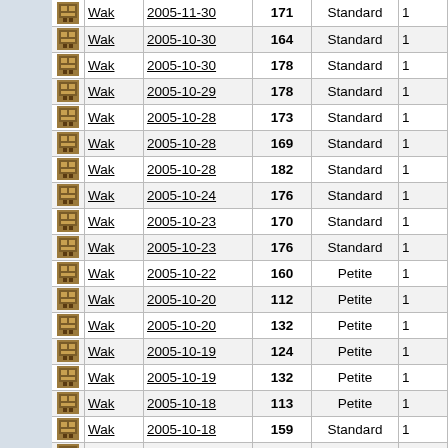|  | Name | Date | Num | Type |  |
| --- | --- | --- | --- | --- | --- |
| [icon] | Wak | 2005-10-30 | 164 | Standard | 1 |
| [icon] | Wak | 2005-10-30 | 178 | Standard | 1 |
| [icon] | Wak | 2005-10-29 | 178 | Standard | 1 |
| [icon] | Wak | 2005-10-28 | 173 | Standard | 1 |
| [icon] | Wak | 2005-10-28 | 169 | Standard | 1 |
| [icon] | Wak | 2005-10-28 | 182 | Standard | 1 |
| [icon] | Wak | 2005-10-24 | 176 | Standard | 1 |
| [icon] | Wak | 2005-10-23 | 170 | Standard | 1 |
| [icon] | Wak | 2005-10-23 | 176 | Standard | 1 |
| [icon] | Wak | 2005-10-22 | 160 | Petite | 1 |
| [icon] | Wak | 2005-10-20 | 112 | Petite | 1 |
| [icon] | Wak | 2005-10-20 | 132 | Petite | 1 |
| [icon] | Wak | 2005-10-19 | 124 | Petite | 1 |
| [icon] | Wak | 2005-10-19 | 132 | Petite | 1 |
| [icon] | Wak | 2005-10-18 | 113 | Petite | 1 |
| [icon] | Wak | 2005-10-18 | 159 | Standard | 1 |
| [icon] | Wak | 2005-10-17 | 177 | Standard | 1 |
| [icon] | Wak | 2005-10-17 | 188 | Standard | 1 |
| [icon] | Wak | 2005-10-17 | 182 | Standard | 1 |
| [icon] | Wak | 2005-10-17 | 182 | Standard | 1 |
| [icon] | Wak | 2005-09-10 | 178 | Standard | 1 |